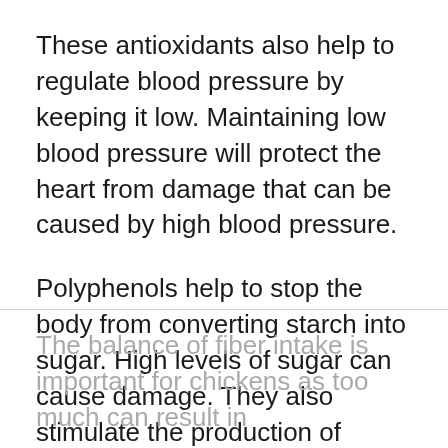These antioxidants also help to regulate blood pressure by keeping it low. Maintaining low blood pressure will protect the heart from damage that can be caused by high blood pressure.
Polyphenols help to stop the body from converting starch into sugar. High levels of sugar can cause damage. They also stimulate the production of insulin that also helps to support healthy blood sugar levels.
Fiber
The balance of fiber intake is important for chickens as too much can result in